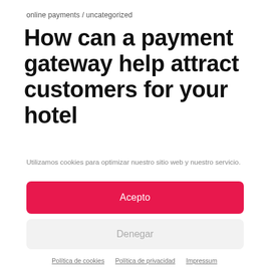online payments / uncategorized
How can a payment gateway help attract customers for your hotel
Utilizamos cookies para optimizar nuestro sitio web y nuestro servicio.
Acepto
Denegar
Preferencias
Política de cookies  Política de privacidad  Impressum